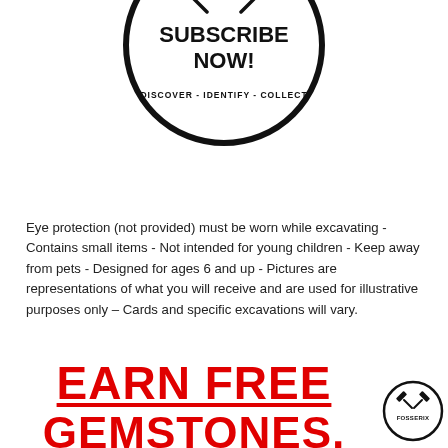[Figure (logo): Circular logo with crossed hammer and chisel tools at top, bold text SUBSCRIBE NOW! in center, and tagline DISCOVER - IDENTIFY - COLLECT at bottom, all inside a thick circle border.]
Eye protection (not provided) must be worn while excavating - Contains small items - Not intended for young children - Keep away from pets - Designed for ages 6 and up - Pictures are representations of what you will receive and are used for illustrative purposes only – Cards and specific excavations will vary.
EARN FREE
GEMSTONES, FOSSILS
[Figure (logo): Small circular badge logo with crossed tools, placed at bottom right corner.]